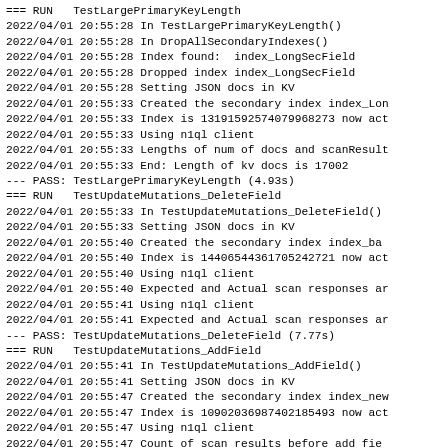=== RUN   TestLargePrimaryKeyLength
2022/04/01 20:55:28 In TestLargePrimaryKeyLength()
2022/04/01 20:55:28 In DropAllSecondaryIndexes()
2022/04/01 20:55:28 Index found:  index_LongSecField
2022/04/01 20:55:28 Dropped index index_LongSecField
2022/04/01 20:55:28 Setting JSON docs in KV
2022/04/01 20:55:33 Created the secondary index index_Lon
2022/04/01 20:55:33 Index is 13191592574079968273 now act
2022/04/01 20:55:33 Using n1ql client
2022/04/01 20:55:33 Lengths of num of docs and scanResult
2022/04/01 20:55:33 End: Length of kv docs is 17002
--- PASS: TestLargePrimaryKeyLength (4.93s)
=== RUN   TestUpdateMutations_DeleteField
2022/04/01 20:55:33 In TestUpdateMutations_DeleteField()
2022/04/01 20:55:33 Setting JSON docs in KV
2022/04/01 20:55:40 Created the secondary index index_ba
2022/04/01 20:55:40 Index is 14406544361705242721 now act
2022/04/01 20:55:40 Using n1ql client
2022/04/01 20:55:40 Expected and Actual scan responses ar
2022/04/01 20:55:41 Using n1ql client
2022/04/01 20:55:41 Expected and Actual scan responses ar
--- PASS: TestUpdateMutations_DeleteField (7.77s)
=== RUN   TestUpdateMutations_AddField
2022/04/01 20:55:41 In TestUpdateMutations_AddField()
2022/04/01 20:55:41 Setting JSON docs in KV
2022/04/01 20:55:47 Created the secondary index index_new
2022/04/01 20:55:47 Index is 10902036987402185493 now act
2022/04/01 20:55:47 Using n1ql client
2022/04/01 20:55:47 Count of scan results before add fie
2022/04/01 20:55:47 Expected and Actual scan responses ar
2022/04/01 20:55:47 Using n1ql client